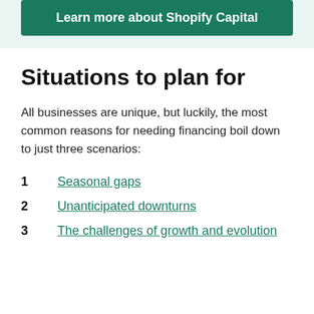[Figure (other): Green button with white bold text reading 'Learn more about Shopify Capital' on a light green background]
Situations to plan for
All businesses are unique, but luckily, the most common reasons for needing financing boil down to just three scenarios:
1  Seasonal gaps
2  Unanticipated downturns
3  The challenges of growth and evolution